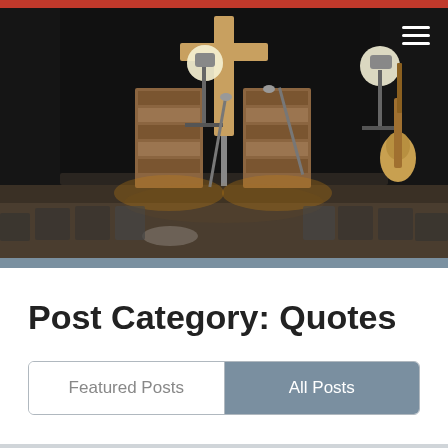[Figure (photo): Church stage interior with a wooden cross in the center background, two wooden panel columns with warm lighting, microphone stands, a guitar on a stand to the right, stage lighting instruments, rows of folding chairs in the foreground, dark curtains in the background.]
Post Category: Quotes
Featured Posts
All Posts